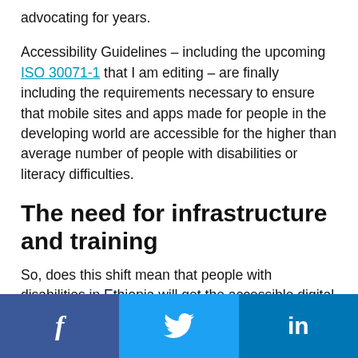advocating for years.
Accessibility Guidelines – including the upcoming ISO 30071-1 that I am editing – are finally including the requirements necessary to ensure that mobile sites and apps made for people in the developing world are accessible for the higher than average number of people with disabilities or literacy difficulties.
The need for infrastructure and training
So, does this shift mean that people with disabilities in Ethiopia will get the accessible digital user experiences that could change their lives? Our
f  [Twitter bird]  in